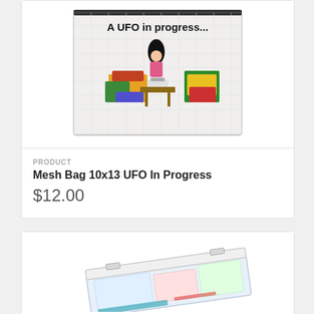[Figure (photo): A clear mesh zip bag with a printed design showing a woman surrounded by colorful quilting/sewing projects, with text 'A UFO in progress...' on the bag]
PRODUCT
Mesh Bag 10x13 UFO In Progress
$12.00
[Figure (photo): A clear plastic storage container or organizer with white lid, partially visible at the bottom of the page]